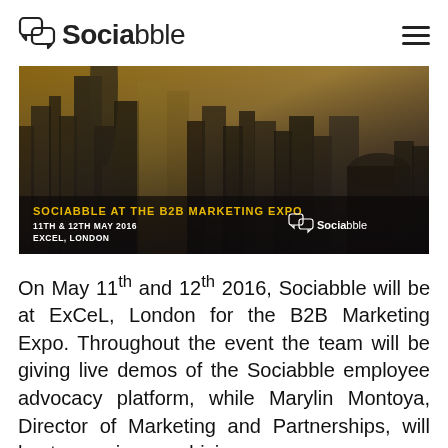Sociabble
[Figure (photo): Banner image showing London cityscape/skyline at dusk with text overlay: 'SOCIABBLE AT THE B2B MARKETING EXPO, 11TH & 12TH MAY 2016, EXCEL, LONDON' with Sociabble logo in bottom right]
On May 11th and 12th 2016, Sociabble will be at ExCeL, London for the B2B Marketing Expo. Throughout the event the team will be giving live demos of the Sociabble employee advocacy platform, while Marylin Montoya, Director of Marketing and Partnerships, will host a seminar on driving